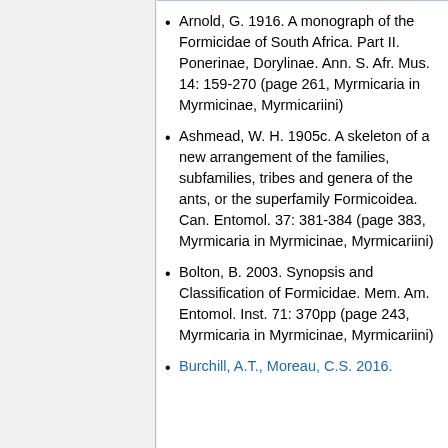Arnold, G. 1916. A monograph of the Formicidae of South Africa. Part II. Ponerinae, Dorylinae. Ann. S. Afr. Mus. 14: 159-270 (page 261, Myrmicaria in Myrmicinae, Myrmicariini)
Ashmead, W. H. 1905c. A skeleton of a new arrangement of the families, subfamilies, tribes and genera of the ants, or the superfamily Formicoidea. Can. Entomol. 37: 381-384 (page 383, Myrmicaria in Myrmicinae, Myrmicariini)
Bolton, B. 2003. Synopsis and Classification of Formicidae. Mem. Am. Entomol. Inst. 71: 370pp (page 243, Myrmicaria in Myrmicinae, Myrmicariini)
Burchill, A.T., Moreau, C.S. 2016.